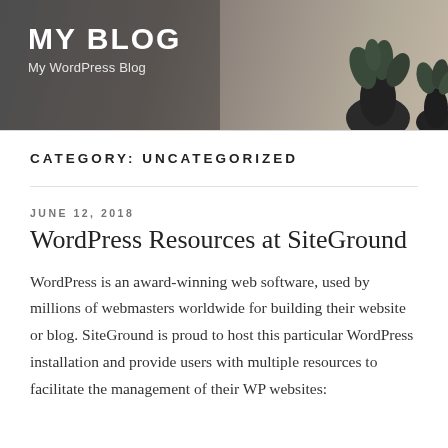MY BLOG
My WordPress Blog
CATEGORY: UNCATEGORIZED
JUNE 12, 2018
WordPress Resources at SiteGround
WordPress is an award-winning web software, used by millions of webmasters worldwide for building their website or blog. SiteGround is proud to host this particular WordPress installation and provide users with multiple resources to facilitate the management of their WP websites: